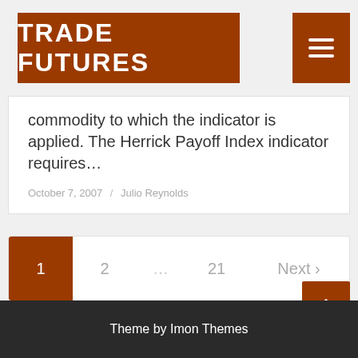TRADE FUTURES
commodity to which the indicator is applied. The Herrick Payoff Index indicator requires…
October 7, 2007 / Julio Reynolds
1  2  ...  21  Next ›
Theme by Imon Themes